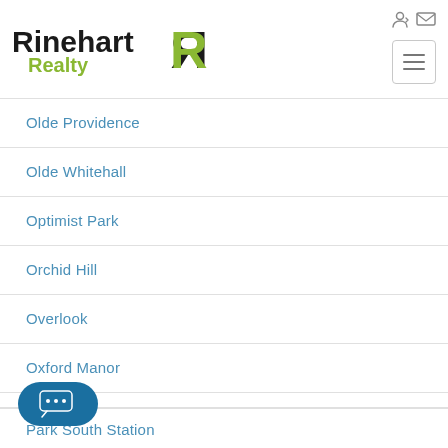[Figure (logo): Rinehart Realty logo with stylized RR icon in black and green]
Olde Providence
Olde Whitehall
Optimist Park
Orchid Hill
Overlook
Oxford Manor
Park South Station